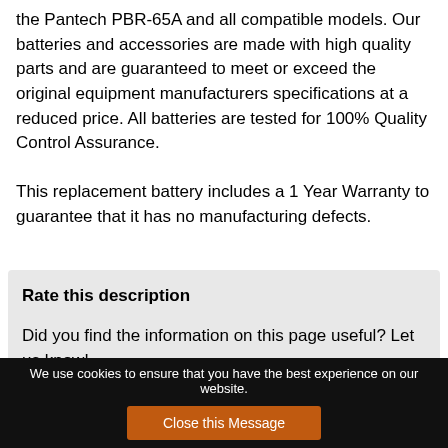the Pantech PBR-65A and all compatible models. Our batteries and accessories are made with high quality parts and are guaranteed to meet or exceed the original equipment manufacturers specifications at a reduced price. All batteries are tested for 100% Quality Control Assurance.

This replacement battery includes a 1 Year Warranty to guarantee that it has no manufacturing defects.
Rate this description
Did you find the information on this page useful? Let us know!
We use cookies to ensure that you have the best experience on our website. Close this Message